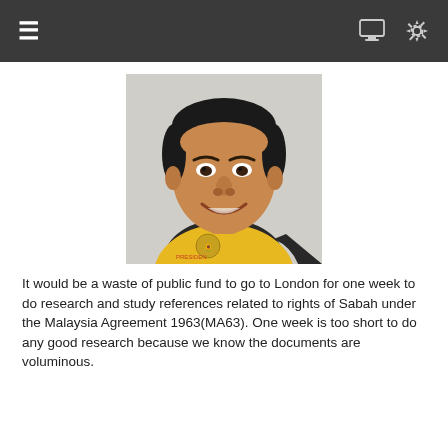≡   [monitor icon]  [settings icon]
[Figure (photo): Portrait photo of an older Asian man smiling, wearing a yellow polo shirt with a black collar and a bird emblem on the chest, with text reading 'PRESIDEN' on the shirt.]
It would be a waste of public fund to go to London for one week to do research and study references related to rights of Sabah under the Malaysia Agreement 1963(MA63). One week is too short to do any good research because we know the documents are voluminous.